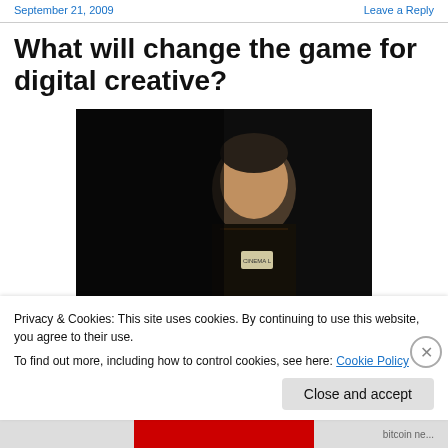September 21, 2009   Leave a Reply
What will change the game for digital creative?
[Figure (photo): A man in a dark shirt wearing a lanyard badge, photographed against a dark background at what appears to be a media event.]
Privacy & Cookies: This site uses cookies. By continuing to use this website, you agree to their use.
To find out more, including how to control cookies, see here: Cookie Policy
Close and accept